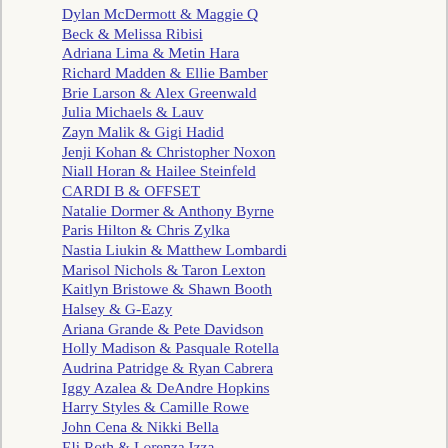Dylan McDermott & Maggie Q
Beck & Melissa Ribisi
Adriana Lima & Metin Hara
Richard Madden & Ellie Bamber
Brie Larson & Alex Greenwald
Julia Michaels & Lauv
Zayn Malik & Gigi Hadid
Jenji Kohan & Christopher Noxon
Niall Horan & Hailee Steinfeld
CARDI B & OFFSET
Natalie Dormer & Anthony Byrne
Paris Hilton & Chris Zylka
Nastia Liukin & Matthew Lombardi
Marisol Nichols & Taron Lexton
Kaitlyn Bristowe & Shawn Booth
Halsey & G-Eazy
Ariana Grande & Pete Davidson
Holly Madison & Pasquale Rotella
Audrina Patridge & Ryan Cabrera
Iggy Azalea & DeAndre Hopkins
Harry Styles & Camille Rowe
John Cena & Nikki Bella
Eli Roth & Lorenza Izza
Christiane Amanpour & Jamie Rubin
Lucy Hale & Riley Smith